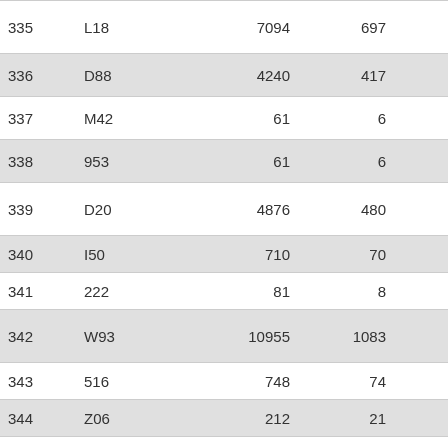| 335 | L18 | 7094 | 697 | 10.18 |
| 336 | D88 | 4240 | 417 | 10.17 |
| 337 | M42 | 61 | 6 | 10.17 |
| 338 | 953 | 61 | 6 | 10.17 |
| 339 | D20 | 4876 | 480 | 10.16 |
| 340 | I50 | 710 | 70 | 10.14 |
| 341 | 222 | 81 | 8 | 10.13 |
| 342 | W93 | 10955 | 1083 | 10.12 |
| 343 | 516 | 748 | 74 | 10.11 |
| 344 | Z06 | 212 | 21 | 10.10 |